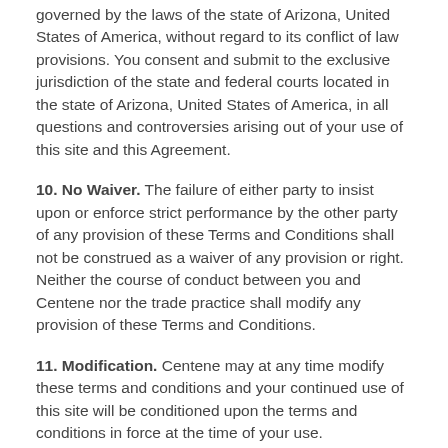governed by the laws of the state of Arizona, United States of America, without regard to its conflict of law provisions. You consent and submit to the exclusive jurisdiction of the state and federal courts located in the state of Arizona, United States of America, in all questions and controversies arising out of your use of this site and this Agreement.
10. No Waiver. The failure of either party to insist upon or enforce strict performance by the other party of any provision of these Terms and Conditions shall not be construed as a waiver of any provision or right. Neither the course of conduct between you and Centene nor the trade practice shall modify any provision of these Terms and Conditions.
11. Modification. Centene may at any time modify these terms and conditions and your continued use of this site will be conditioned upon the terms and conditions in force at the time of your use.
12. Additional Terms. Additional terms and conditions may apply to purchases of goods and services and other uses of portions of the Site, and you agree to abide by such other terms and conditions.
13. Severability. These terms and conditions shall be deemed...